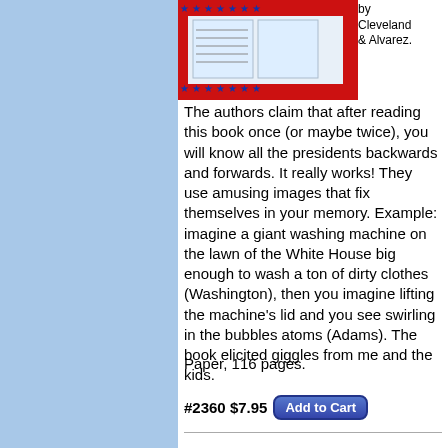[Figure (illustration): Book cover with red and blue star border design, showing illustrations related to US presidents memory techniques]
by Cleveland & Alvarez. The authors claim that after reading this book once (or maybe twice), you will know all the presidents backwards and forwards. It really works! They use amusing images that fix themselves in your memory. Example: imagine a giant washing machine on the lawn of the White House big enough to wash a ton of dirty clothes (Washington), then you imagine lifting the machine's lid and you see swirling in the bubbles atoms (Adams). The book elicited giggles from me and the kids.
Paper, 116 pages.
#2360 $7.95 Add to Cart